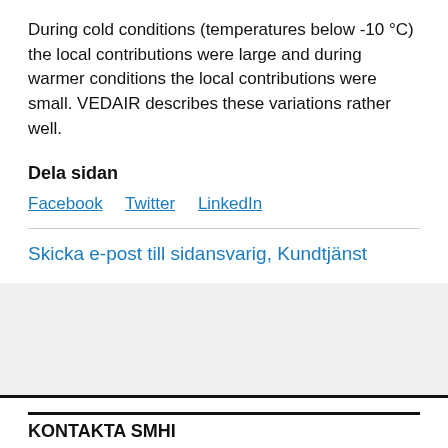During cold conditions (temperatures below -10 °C) the local contributions were large and during warmer conditions the local contributions were small. VEDAIR describes these variations rather well.
Dela sidan
Facebook   Twitter   LinkedIn
Skicka e-post till sidansvarig, Kundtjänst
KONTAKTA SMHI
SMHI, Sveriges meteorologiska och hydrologiska